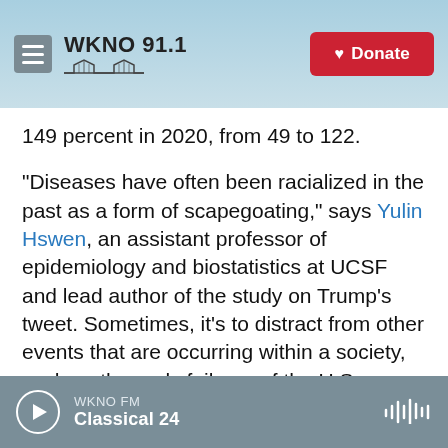WKNO 91.1 | Donate
149 percent in 2020, from 49 to 122.
"Diseases have often been racialized in the past as a form of scapegoating," says Yulin Hswen, an assistant professor of epidemiology and biostatistics at UCSF and lead author of the study on Trump's tweet. Sometimes, it's to distract from other events that are occurring within a society, such as the early failures of the U.S. response to the pandemic, says Hswen.
Suspicion tends to manifest more during times of vulnerability, like in wartime or during a pandemic,
WKNO FM
Classical 24